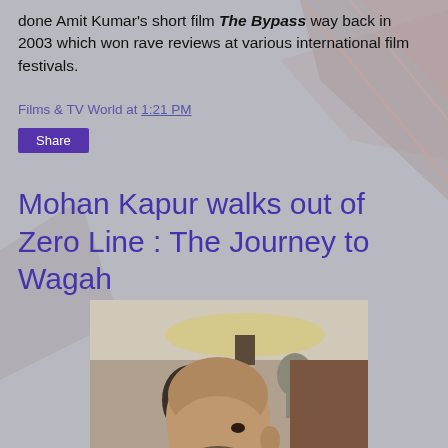done Amit Kumar's short film The Bypass way back in 2003 which won rave reviews at various international film festivals.
Films & TV World at 1:21 PM
Share
Mohan Kapur walks out of Zero Line : The Journey to Wagah
[Figure (photo): Photo of a bald man with a beard, facing slightly to the right, in an indoor setting with decorative objects including what appears to be a lamp and a Buddha statue in the background.]